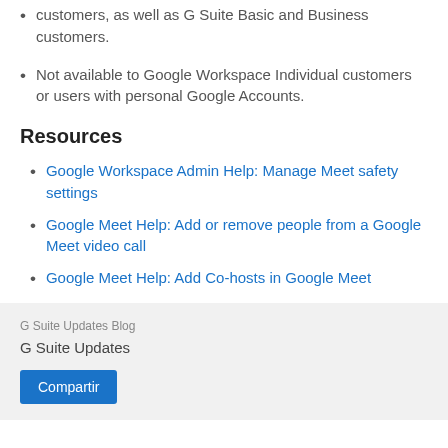customers, as well as G Suite Basic and Business customers.
Not available to Google Workspace Individual customers or users with personal Google Accounts.
Resources
Google Workspace Admin Help: Manage Meet safety settings
Google Meet Help: Add or remove people from a Google Meet video call
Google Meet Help: Add Co-hosts in Google Meet
G Suite Updates
Compartir